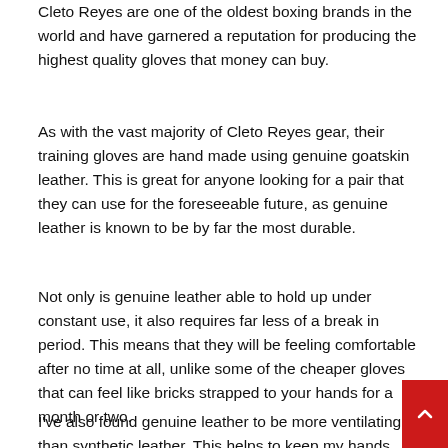Cleto Reyes are one of the oldest boxing brands in the world and have garnered a reputation for producing the highest quality gloves that money can buy.
As with the vast majority of Cleto Reyes gear, their training gloves are hand made using genuine goatskin leather. This is great for anyone looking for a pair that they can use for the foreseeable future, as genuine leather is known to be by far the most durable.
Not only is genuine leather able to hold up under constant use, it also requires far less of a break in period. This means that they will be feeling comfortable after no time at all, unlike some of the cheaper gloves that can feel like bricks strapped to your hands for a month or two.
I've also found genuine leather to be more ventilating than synthetic leather. This helps to keep my hands cooler when